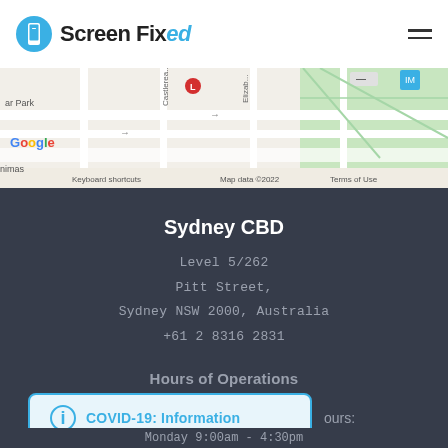Screen Fixed
[Figure (map): Google Maps screenshot showing Sydney CBD area with street layout. Shows Castlereagh St, Elizabeth St, and surrounding streets. Google branding visible, 'Keyboard shortcuts', 'Map data ©2022', 'Terms of Use' labels at bottom.]
Sydney CBD
Level 5/262
Pitt Street,
Sydney NSW 2000, Australia
+61 2 8316 2831
Hours of Operations
COVID-19: Information
hours:
Monday 9:00am - 4:30pm